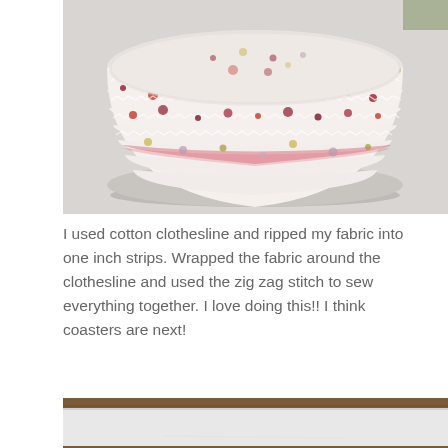[Figure (photo): A round fabric bowl made from cotton clothesline wrapped with multicolor fabric strips (white base with dark red/maroon, yellow, pink, and purple speckled pattern), sewn with zig zag stitch. The bowl sits on a light gray surface and is photographed from a slightly elevated angle showing the interior and exterior.]
I used cotton clothesline and ripped my fabric into one inch strips. Wrapped the fabric around the clothesline and used the zig zag stitch to sew everything together. I love doing this!! I think coasters are next!
[Figure (photo): Partial view of what appears to be a white surface or board on a wooden table, cropped at the bottom of the page.]